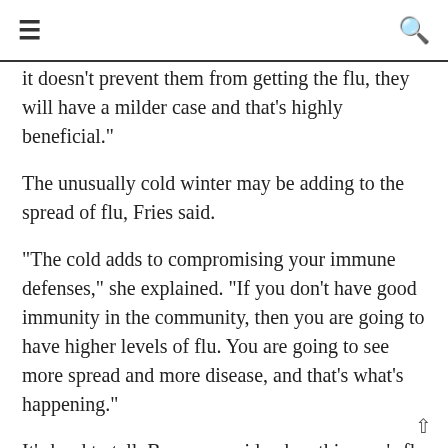≡  🔍
it doesn't prevent them from getting the flu, they will have a milder case and that's highly beneficial."
The unusually cold winter may be adding to the spread of flu, Fries said.
"The cold adds to compromising your immune defenses," she explained. "If you don't have good immunity in the community, then you are going to have higher levels of flu. You are going to see more spread and more disease, and that's what's happening."
It's hard to tell, Brammer said, when this year's flu season will peak. Flu can hang around through winter into spring, she noted.
More information